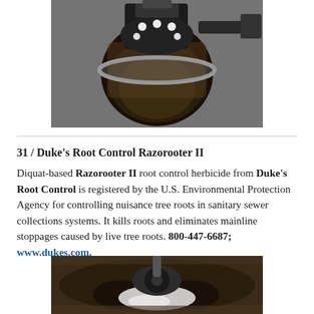[Figure (photo): Top-down view of a sewer manhole opening in pavement with mechanical root cutting equipment positioned over it]
31 / Duke's Root Control Razorooter II
Diquat-based Razorooter II root control herbicide from Duke's Root Control is registered by the U.S. Environmental Protection Agency for controlling nuisance tree roots in sanitary sewer collections systems. It kills roots and eliminates mainline stoppages caused by live tree roots. 800-447-6687; www.dukes.com.
[Figure (photo): Close-up view inside a sewer pipe showing root intrusion and mechanical cutting equipment]